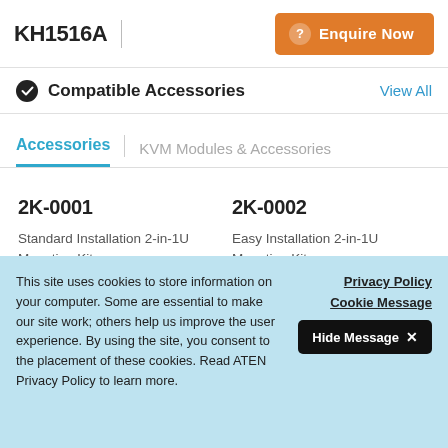KH1516A
Compatible Accessories
View All
Accessories | KVM Modules & Accessories
2K-0001
Standard Installation 2-in-1U Mounting Kit
2K-0002
Easy Installation 2-in-1U Mounting Kit
This site uses cookies to store information on your computer. Some are essential to make our site work; others help us improve the user experience. By using the site, you consent to the placement of these cookies. Read ATEN Privacy Policy to learn more.
Privacy Policy
Cookie Message
Hide Message ✕